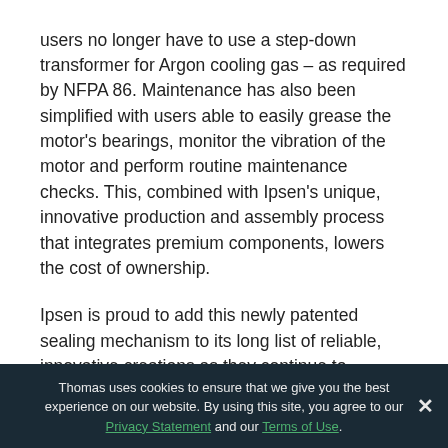users no longer have to use a step-down transformer for Argon cooling gas – as required by NFPA 86. Maintenance has also been simplified with users able to easily grease the motor's bearings, monitor the vibration of the motor and perform routine maintenance checks. This, combined with Ipsen's unique, innovative production and assembly process that integrates premium components, lowers the cost of ownership.
Ipsen is proud to add this newly patented sealing mechanism to its long list of reliable, innovative creations as they continue to engineer and manufacture advanced, highly technical technologies for unique or special applications. With more than 120 approved and 50 pending patents worldwide, Ipsen's shaft seal is just one
Thomas uses cookies to ensure that we give you the best experience on our website. By using this site, you agree to our Privacy Statement and our Terms of Use.